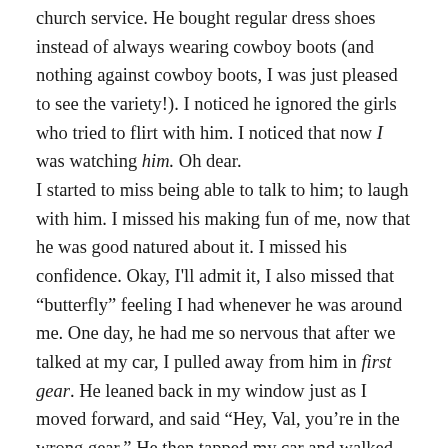church service. He bought regular dress shoes instead of always wearing cowboy boots (and nothing against cowboy boots, I was just pleased to see the variety!). I noticed he ignored the girls who tried to flirt with him. I noticed that now I was watching him. Oh dear.
I started to miss being able to talk to him; to laugh with him. I missed his making fun of me, now that he was good natured about it. I missed his confidence. Okay, I'll admit it, I also missed that “butterfly” feeling I had whenever he was around me. One day, he had me so nervous that after we talked at my car, I pulled away from him in first gear. He leaned back in my window just as I moved forward, and said “Hey, Val, you’re in the wrong gear.” He then tapped my car and walked away. I looked down, and yep, he was right. He gave me the feeling that if I fell, he’d be there to catch me. I missed that security.
Deep down, I wanted give him another chance. I wasn’t sure if I should though. I talked to my Mom. She didn’t know what to...